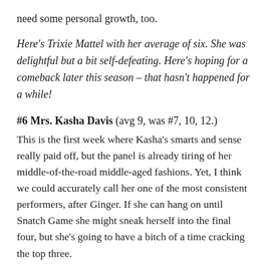need some personal growth, too.
Here's Trixie Mattel with her average of six. She was delightful but a bit self-defeating. Here's hoping for a comeback later this season – that hasn't happened for a while!
#6 Mrs. Kasha Davis (avg 9, was #7, 10, 12.)
This is the first week where Kasha's smarts and sense really paid off, but the panel is already tiring of her middle-of-the-road middle-aged fashions. Yet, I think we could accurately call her one of the most consistent performers, after Ginger. If she can hang on until Snatch Game she might sneak herself into the final four, but she's going to have a bitch of a time cracking the top three.
#7 Jaidynn Diore Fierce (avg 10, was #11, 12, 10)
Let's be real: as soon as fashion starts to matter, this girl and her one-piece swimsuit dresses are out. That said,